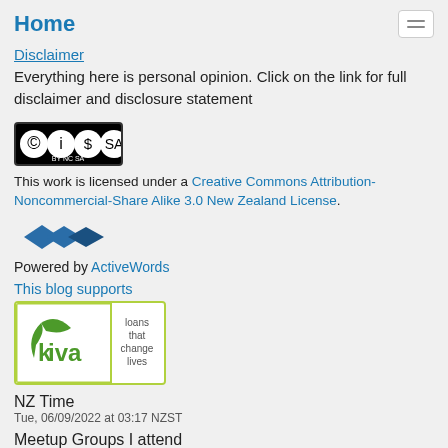Home
Disclaimer
Everything here is personal opinion. Click on the link for full disclaimer and disclosure statement
[Figure (logo): Creative Commons BY NC SA license badge]
This work is licensed under a Creative Commons Attribution-Noncommercial-Share Alike 3.0 New Zealand License.
[Figure (logo): ActiveWords logo - blue diamond shapes]
Powered by ActiveWords
This blog supports
[Figure (logo): Kiva - loans that change lives logo with green border]
NZ Time
Tue, 06/09/2022 at 03:17 NZST
Meetup Groups I attend
Revit User Group Auckland
NZ Microsoft Cloud & Infrastructure User Group